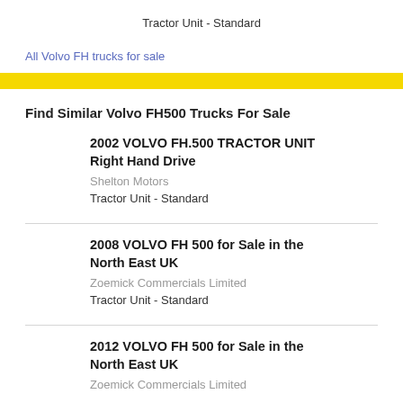Tractor Unit - Standard
All Volvo FH trucks for sale
[Figure (other): Yellow horizontal bar/banner]
Find Similar Volvo FH500 Trucks For Sale
2002 VOLVO FH.500 TRACTOR UNIT Right Hand Drive
Shelton Motors
Tractor Unit - Standard
2008 VOLVO FH 500 for Sale in the North East UK
Zoemick Commercials Limited
Tractor Unit - Standard
2012 VOLVO FH 500 for Sale in the North East UK
Zoemick Commercials Limited